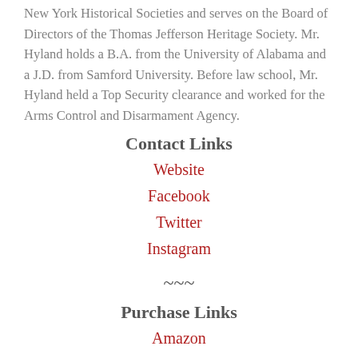New York Historical Societies and serves on the Board of Directors of the Thomas Jefferson Heritage Society. Mr. Hyland holds a B.A. from the University of Alabama and a J.D. from Samford University. Before law school, Mr. Hyland held a Top Security clearance and worked for the Arms Control and Disarmament Agency.
Contact Links
Website
Facebook
Twitter
Instagram
~~~
Purchase Links
Amazon